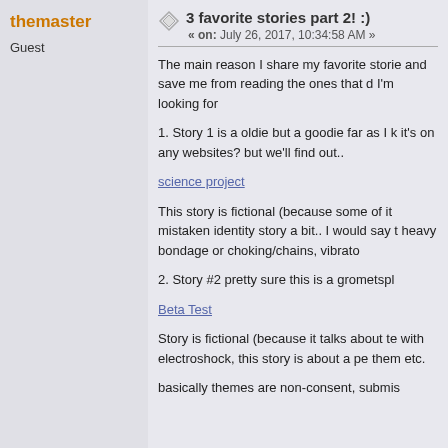themaster
Guest
3 favorite stories part 2! :)
« on: July 26, 2017, 10:34:58 AM »
The main reason I share my favorite storie and save me from reading the ones that d I'm looking for
1. Story 1 is a oldie but a goodie far as I k it's on any websites? but we'll find out..
science project
This story is fictional (because some of it mistaken identity story a bit.. I would say t heavy bondage or choking/chains, vibrato
2. Story #2 pretty sure this is a grometspl
Beta Test
Story is fictional (because it talks about te with electroshock, this story is about a pe them etc.
basically themes are non-consent, submis